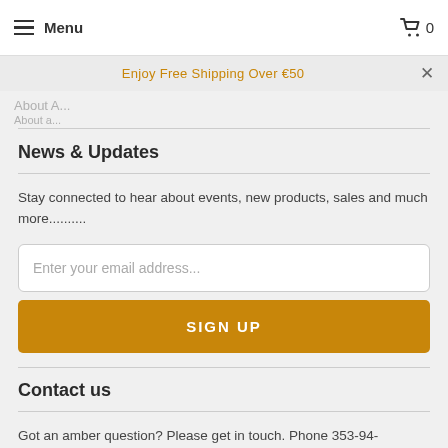≡ Menu  🛒 0
Enjoy Free Shipping Over €50  ×
News & Updates
Stay connected to hear about events, new products, sales and much more..........
Enter your email address...
SIGN UP
Contact us
Got an amber question? Please get in touch. Phone 353-94-9257115
[Figure (other): Social media icons: Facebook, Instagram, Email]